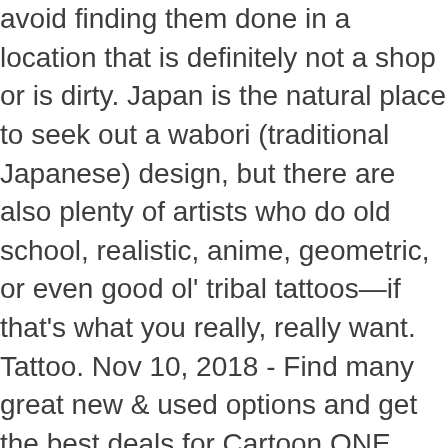avoid finding them done in a location that is definitely not a shop or is dirty. Japan is the natural place to seek out a wabori (traditional Japanese) design, but there are also plenty of artists who do old school, realistic, anime, geometric, or even good ol' tribal tattoos—if that's what you really, really want. Tattoo. Nov 10, 2018 - Find many great new & used options and get the best deals for Cartoon ONE PUNCH MAN Decal Car Stickers Vinyl Reflective Window Door Anime JDM at the best online prices at eBay! Personal Blog. ONE wrote the original webcomic version in early 2009. Follow us to be the first to know about the new posts on the website. ミツバチOKなの のになんで カテゴリから移動した 2020年03月16日 ☆にゃんにゃんにゃんにゃんにゃんにゃんにゃんにゃんにゃんにゃんにゃんにゃんにゃんにゃんにゃんにゃん Discover Pinterest’s 10 best ideas and inspiration for Saitama. Fuji, and the Kofu basin, which you can soak up while